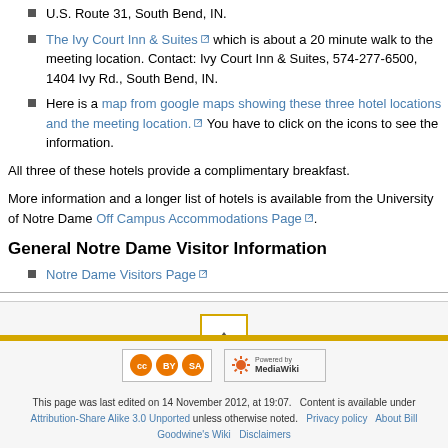U.S. Route 31, South Bend, IN.
The Ivy Court Inn & Suites which is about a 20 minute walk to the meeting location. Contact: Ivy Court Inn & Suites, 574-277-6500, 1404 Ivy Rd., South Bend, IN.
Here is a map from google maps showing these three hotel locations and the meeting location. You have to click on the icons to see the information.
All three of these hotels provide a complimentary breakfast.
More information and a longer list of hotels is available from the University of Notre Dame Off Campus Accommodations Page.
General Notre Dame Visitor Information
Notre Dame Visitors Page
[Figure (other): Scroll to top button with upward arrow, orange border]
[Figure (logo): Creative Commons Attribution-Share Alike license badge]
[Figure (logo): Powered by MediaWiki badge]
This page was last edited on 14 November 2012, at 19:07. Content is available under Attribution-Share Alike 3.0 Unported unless otherwise noted. Privacy policy About Bill Goodwine's Wiki Disclaimers